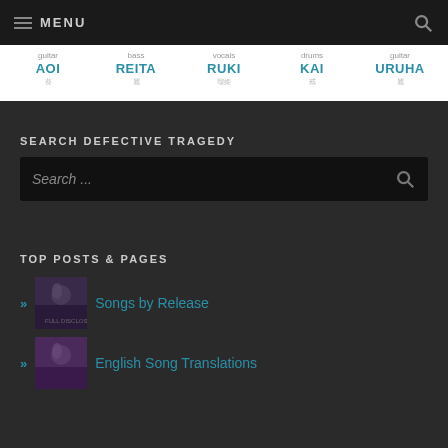MENU
[Figure (infographic): Band members listing: guitar AOI, bass REITA, vocals RUKI, drums KAI, guitar URUHA with Japanese kanji names]
SEARCH DEFECTIVE TRAGEDY
Search ...
TOP POSTS & PAGES
Songs by Release
English Song Translations